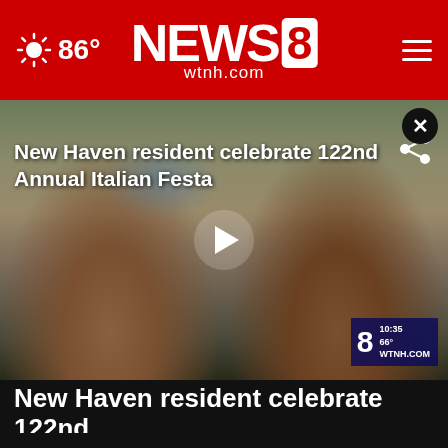86° | NEWS 8 WTNH | wtnh.com
[Figure (photo): Two elderly men dressed in red vests and Italian-themed hats performing music at the 122nd Annual Italian Festa in New Haven. One plays guitar, the other plays mandolin and sings into a microphone. Festival decorations and booths are visible in the background. NEWS 8 WTNH watermark with time 10:35, 66°.]
New Haven resident celebrate 122nd Annual Italian Festa
New Haven resident celebrate 122nd...
News / 1 hour ago
[Figure (photo): Small thumbnail image of a campfire or bonfire outdoors]